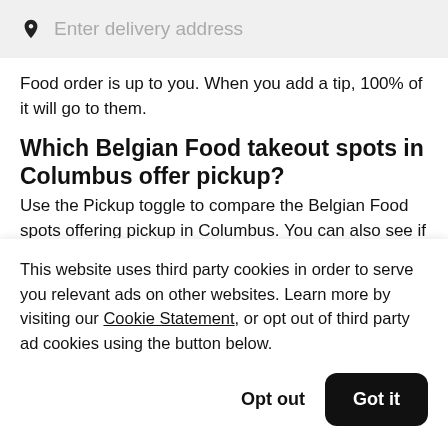[Figure (screenshot): Address bar with location pin icon and placeholder text 'Enter delivery address' on a light gray background]
Food order is up to you. When you add a tip, 100% of it will go to them.
Which Belgian Food takeout spots in Columbus offer pickup?
Use the Pickup toggle to compare the Belgian Food spots offering pickup in Columbus. You can also see if
This website uses third party cookies in order to serve you relevant ads on other websites. Learn more by visiting our Cookie Statement, or opt out of third party ad cookies using the button below.
Opt out
Got it